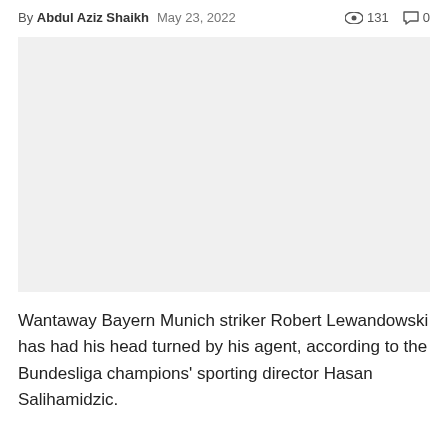By Abdul Aziz Shaikh  May 23, 2022  131  0
[Figure (photo): Large image placeholder (white/light gray area), likely a photo related to Robert Lewandowski or Bayern Munich]
Wantaway Bayern Munich striker Robert Lewandowski has had his head turned by his agent, according to the Bundesliga champions' sporting director Hasan Salihamidzic.